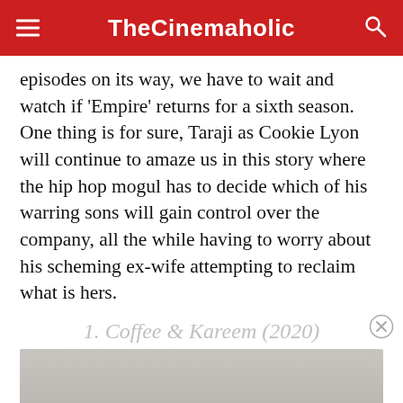TheCinemaholic
episodes on its way, we have to wait and watch if ‘Empire’ returns for a sixth season. One thing is for sure, Taraji as Cookie Lyon will continue to amaze us in this story where the hip hop mogul has to decide which of his warring sons will gain control over the company, all the while having to worry about his scheming ex-wife attempting to reclaim what is hers.
1. Coffee & Kareem (2020)
[Figure (photo): A blurred/greyed out image placeholder for movie or show still]